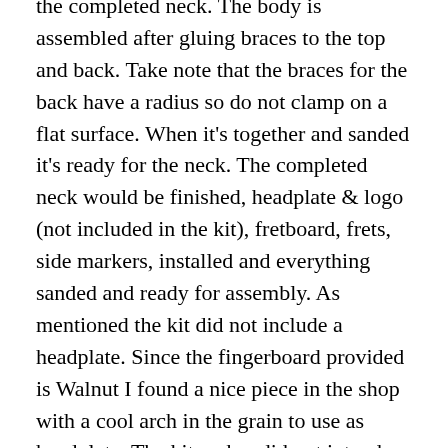the completed neck. The body is assembled after gluing braces to the top and back. Take note that the braces for the back have a radius so do not clamp on a flat surface. When it's together and sanded it's ready for the neck. The completed neck would be finished, headplate & logo (not included in the kit), fretboard, frets, side markers, installed and everything sanded and ready for assembly. As mentioned the kit did not include a headplate. Since the fingerboard provided is Walnut I found a nice piece in the shop with a cool arch in the grain to use as headplate. The kit maker did not intend for the added thickness of the headplate so I do not recommend trying it unless you use a veneer about 1/32"